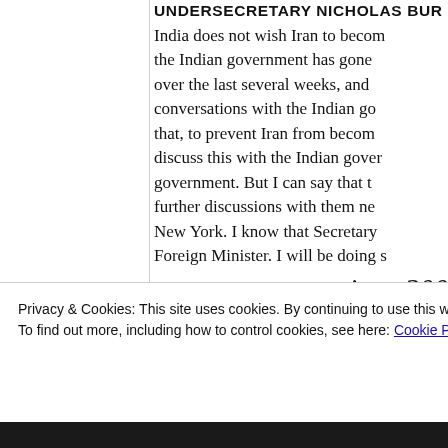UNDERSECRETARY NICHOLAS BUR...
India does not wish Iran to become... the Indian government has gone... over the last several weeks, and... conversations with the Indian go... that, to prevent Iran from becom... discuss this with the Indian gover... government. But I can say that t... further discussions with them ne... New York. I know that Secretary... Foreign Minister. I will be doing s...
since 200...
Start reading
Privacy & Cookies: This site uses cookies. By continuing to use this website, you agree to their use.
To find out more, including how to control cookies, see here: Cookie Policy
Close and accept